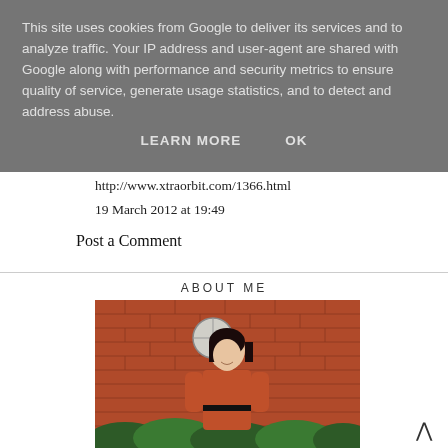This site uses cookies from Google to deliver its services and to analyze traffic. Your IP address and user-agent are shared with Google along with performance and security metrics to ensure quality of service, generate usage statistics, and to detect and address abuse.
LEARN MORE   OK
http://www.xtraorbit.com/1366.html
19 March 2012 at 19:49
Post a Comment
ABOUT ME
[Figure (photo): A young woman wearing an orange patterned dress with a black belt, standing in front of a red brick wall with a circular window, surrounded by green shrubbery.]